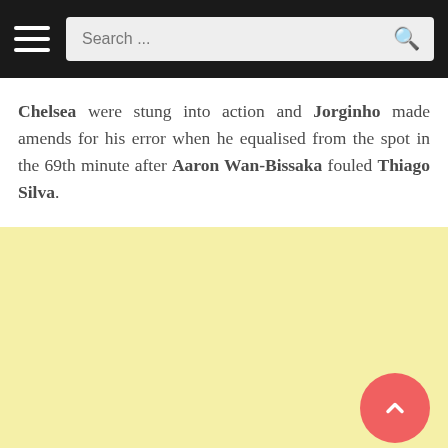Search ...
Chelsea were stung into action and Jorginho made amends for his error when he equalised from the spot in the 69th minute after Aaron Wan-Bissaka fouled Thiago Silva.
[Figure (other): Yellow advertisement/content area with a back-to-top button (salmon/red circle with upward chevron) in the bottom right corner.]